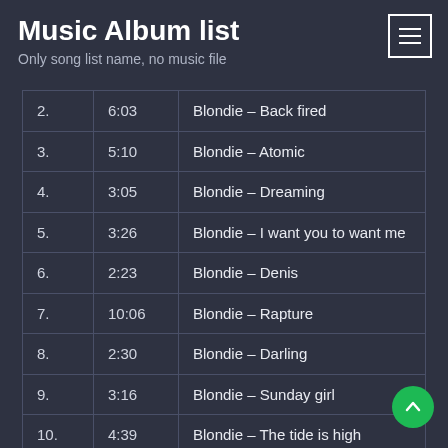Music Album list
Only song list name, no music file
| # | Time | Song |
| --- | --- | --- |
| 2. | 6:03 | Blondie – Back fired |
| 3. | 5:10 | Blondie – Atomic |
| 4. | 3:05 | Blondie – Dreaming |
| 5. | 3:26 | Blondie – I want you to want me |
| 6. | 2:23 | Blondie – Denis |
| 7. | 10:06 | Blondie – Rapture |
| 8. | 2:30 | Blondie – Darling |
| 9. | 3:16 | Blondie – Sunday girl |
| 10. | 4:39 | Blondie – The tide is high |
| 11. | 4:57 | Blondie – Maria (live) |